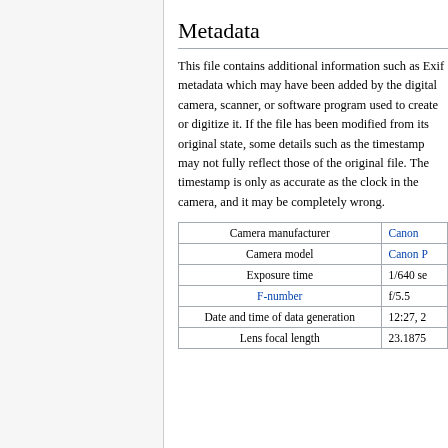Metadata
This file contains additional information such as Exif metadata which may have been added by the digital camera, scanner, or software program used to create or digitize it. If the file has been modified from its original state, some details such as the timestamp may not fully reflect those of the original file. The timestamp is only as accurate as the clock in the camera, and it may be completely wrong.
|  |  |
| --- | --- |
| Camera manufacturer | Canon |
| Camera model | Canon P... |
| Exposure time | 1/640 se... |
| F-number | f/5.5 |
| Date and time of data generation | 12:27, 2... |
| Lens focal length | 23.1875... |